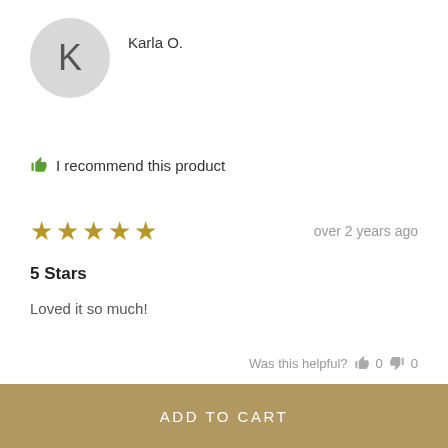[Figure (illustration): Circular avatar with grey background and letter K]
Karla O.
I recommend this product
[Figure (other): Five gold stars rating]
over 2 years ago
5 Stars
Loved it so much!
Was this helpful? 0 0
ADD TO CART